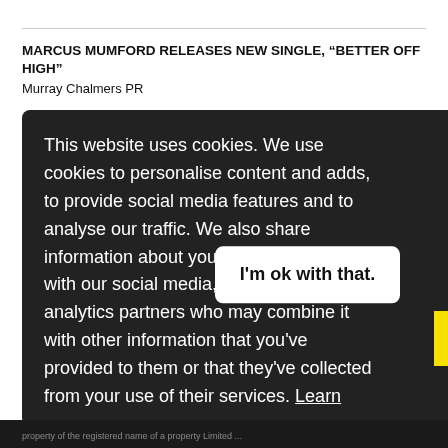MARCUS MUMFORD RELEASES NEW SINGLE, “BETTER OFF HIGH”
Murray Chalmers PR
This website uses cookies. We use cookies to personalise content and adds, to provide social media features and to analyse our traffic. We also share information about your use of our site with our social media, advertising and analytics partners who may combine it with other information that you've provided to them or that they've collected from your use of their services. Learn more
I'm ok with that.
property of the registered name of a property Limited ...